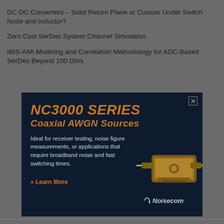DC-DC Converters – Solid Return Plane or Cutouts Under Switch Node and Inductor?
Zero Cost SerDes System Channel Simulation
IBIS-AMI Modeling and Correlation Methodology for ADC-Based SerDes Beyond 100 Gb/s
[Figure (illustration): Advertisement for NC3000 SERIES Coaxial AWGN Sources by Noisecom. Dark navy blue background with orange title text. Body text: Ideal for receiver testing, noise figure measurements, or applications that require broadband noise and fast switching times. Learn More link. Noisecom logo at bottom right. Image of coaxial device on right side.]